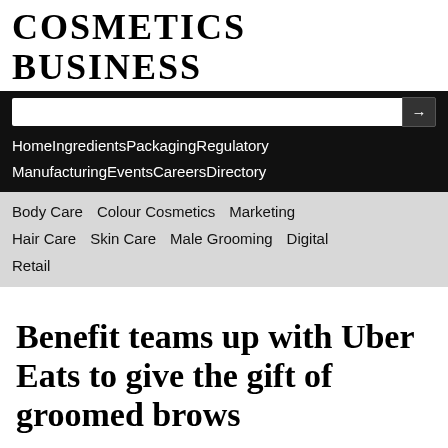COSMETICS BUSINESS
Home   Ingredients   Packaging   Regulatory   Manufacturing   Events   Careers   Directory
Body Care   Colour Cosmetics   Marketing   Hair Care   Skin Care   Male Grooming   Digital   Retail
Benefit teams up with Uber Eats to give the gift of groomed brows
By Austyn King   15-Nov-2021